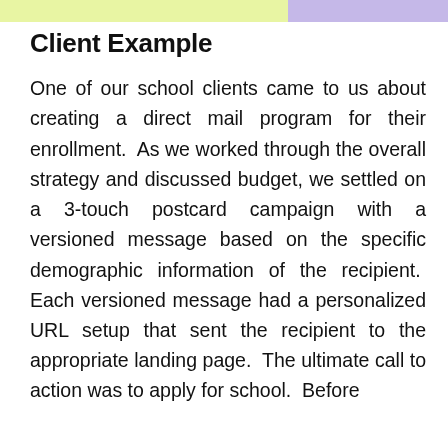Client Example
One of our school clients came to us about creating a direct mail program for their enrollment. As we worked through the overall strategy and discussed budget, we settled on a 3-touch postcard campaign with a versioned message based on the specific demographic information of the recipient. Each versioned message had a personalized URL setup that sent the recipient to the appropriate landing page. The ultimate call to action was to apply for school. Before